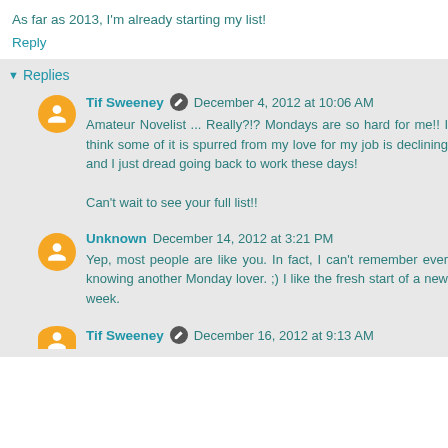As far as 2013, I'm already starting my list!
Reply
Replies
Tif Sweeney  December 4, 2012 at 10:06 AM
Amateur Novelist ... Really?!? Mondays are so hard for me!! I think some of it is spurred from my love for my job is declining and I just dread going back to work these days!

Can't wait to see your full list!!
Unknown  December 14, 2012 at 3:21 PM
Yep, most people are like you. In fact, I can't remember ever knowing another Monday lover. ;) I like the fresh start of a new week.
Tif Sweeney  December 16, 2012 at 9:13 AM